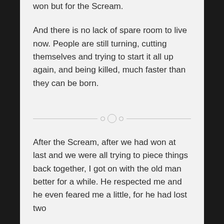won but for the Scream.
And there is no lack of spare room to live now. People are still turning, cutting themselves and trying to start it all up again, and being killed, much faster than they can be born.
After the Scream, after we had won at last and we were all trying to piece things back together, I got on with the old man better for a while. He respected me and he even feared me a little, for he had lost two